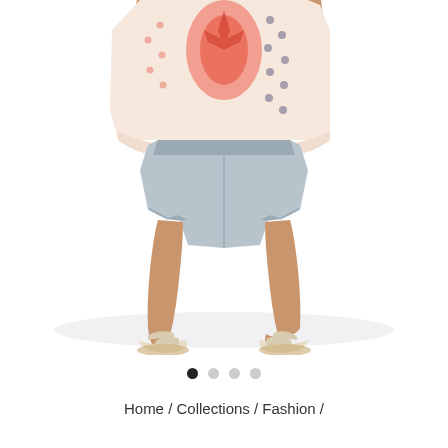[Figure (photo): Fashion model photo showing lower body: woman wearing a patterned pink/coral bohemian top, light grey denim shorts, and white woven slide sandals, standing against a white background.]
● ○ ○ ○
Home / Collections / Fashion /